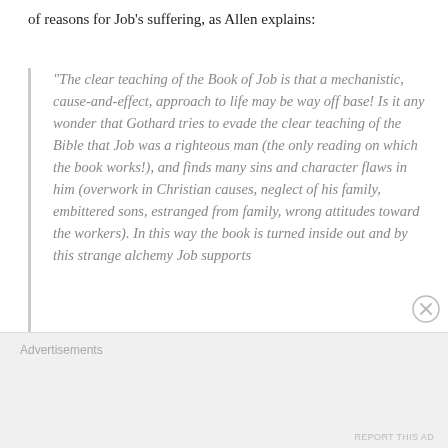of reasons for Job's suffering, as Allen explains:
“The clear teaching of the Book of Job is that a mechanistic, cause-and-effect, approach to life may be way off base! Is it any wonder that Gothard tries to evade the clear teaching of the Bible that Job was a righteous man (the only reading on which the book works!), and finds many sins and character flaws in him (overwork in Christian causes, neglect of his family, embittered sons, estranged from family, wrong attitudes toward the workers). In this way the book is turned inside out and by this strange alchemy Job supports
Advertisements